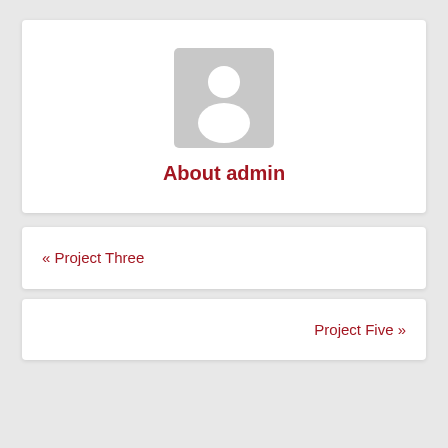[Figure (illustration): Generic user avatar placeholder icon — a gray rounded-square background with a white silhouette of a person (head and shoulders).]
About admin
« Project Three
Project Five »